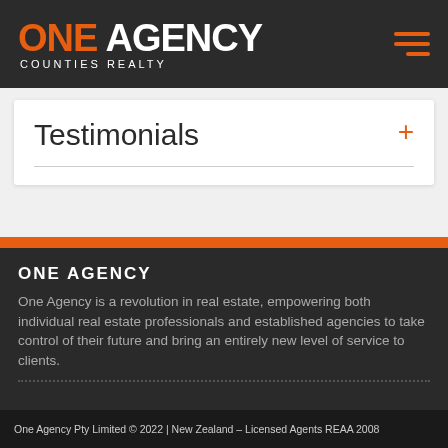ONE AGENCY COUNTIES REALTY
Testimonials
ONE AGENCY
One Agency is a revolution in real estate, empowering both individual real estate professionals and established agencies to take control of their future and bring an entirely new level of service to clients.
One Agency Pty Limited © 2022 | New Zealand – Licensed Agents REAA 2008